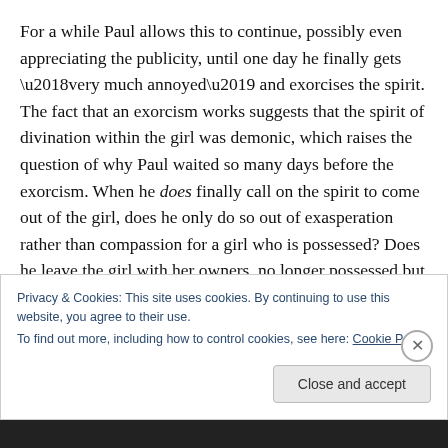For a while Paul allows this to continue, possibly even appreciating the publicity, until one day he finally gets ‘very much annoyed’ and exorcises the spirit. The fact that an exorcism works suggests that the spirit of divination within the girl was demonic, which raises the question of why Paul waited so many days before the exorcism. When he does finally call on the spirit to come out of the girl, does he only do so out of exasperation rather than compassion for a girl who is possessed? Does he leave the girl with her owners, no longer possessed but still a possession?
Privacy & Cookies: This site uses cookies. By continuing to use this website, you agree to their use.
To find out more, including how to control cookies, see here: Cookie Policy